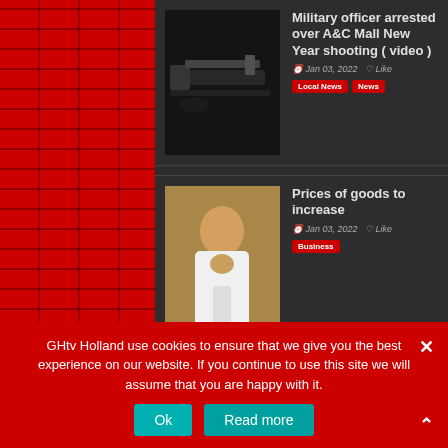[Figure (photo): News article thumbnail showing a military rifle/gun on a surface]
Military officer arrested over A&C Mall New Year shooting ( video )
Jan 03, 2022  Like
Local News  News
[Figure (photo): News article thumbnail showing a man in white shirt speaking at a microphone]
Prices of goods to increase
Jan 03, 2022  Like
Business
[Figure (photo): News article thumbnail showing a depot/fuel station sign]
Depots to be upgraded and expand of pipelines
GHtv Holland use cookies to ensure that we give you the best experience on our website. If you continue to use this site we will assume that you are happy with it.